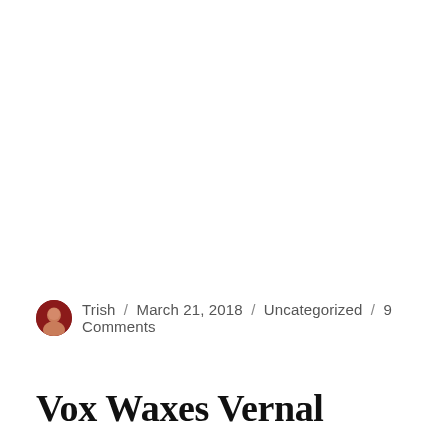Trish / March 21, 2018 / Uncategorized / 9 Comments
Vox Waxes Vernal